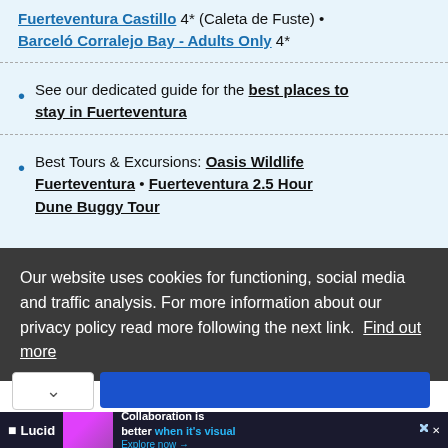Fuerteventura Castillo 4* (Caleta de Fuste) • Barceló Corralejo Bay - Adults Only 4*
See our dedicated guide for the best places to stay in Fuerteventura
Best Tours & Excursions: Oasis Wildlife Fuerteventura • Fuerteventura 2.5 Hour Dune Buggy Tour
Our website uses cookies for functioning, social media and traffic analysis. For more information about our privacy policy read more following the next link. Find out more
[Figure (screenshot): Advertisement banner for Lucid with pink/magenta circular graphic, logo, and text 'Collaboration is better when it's visual. Explore now →']